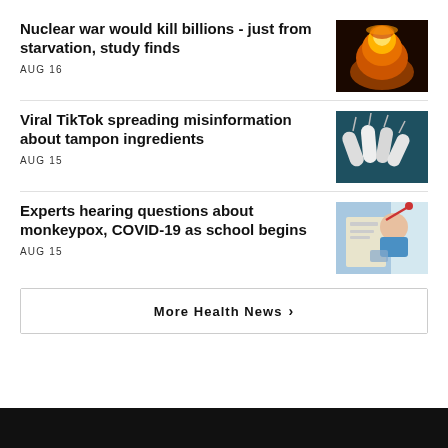Nuclear war would kill billions - just from starvation, study finds
AUG 16
[Figure (photo): Nuclear explosion mushroom cloud glowing orange against dark background]
Viral TikTok spreading misinformation about tampon ingredients
AUG 15
[Figure (photo): Several tampons laid on a teal/dark background]
Experts hearing questions about monkeypox, COVID-19 as school begins
AUG 15
[Figure (photo): Doctor in blue gloves writing notes with stethoscope visible]
More Health News ›